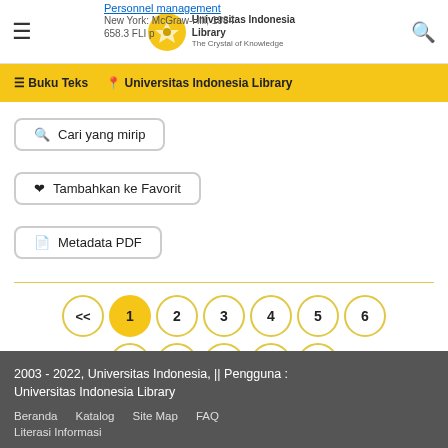Universitas Indonesia Library — The Crystal of Knowledge
Personnel management
New York: McGraw-Hill, 1984
658.3 FLI p
Buku Teks  Universitas Indonesia Library
Cari yang mirip
Tambahkan ke Favorit
Metadata PDF
<< 1 2 3 4 5 6 7 8 9 10 >>
2003 - 2022, Universitas Indonesia, || Pengguna : Universitas Indonesia Library
Beranda  Katalog  Site Map  FAQ
Literasi Informasi